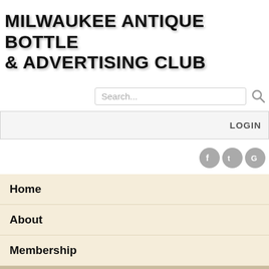MILWAUKEE ANTIQUE BOTTLE & ADVERTISING CLUB
Search...
LOGIN
Home
About
Membership
Members
Photos